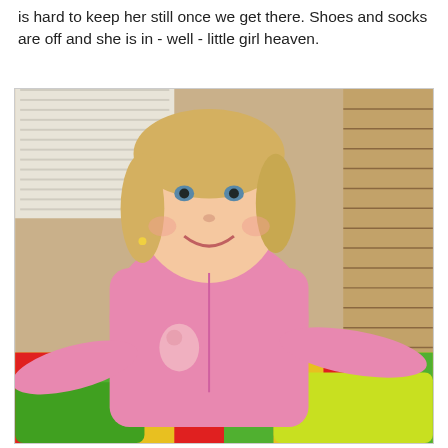is hard to keep her still once we get there. Shoes and socks are off and she is in - well - little girl heaven.
[Figure (photo): A smiling young blonde girl wearing a pink zip-up hoodie with Piglet (Winnie the Pooh) graphic, arms outstretched, sitting on colorful striped cushions/pillows. Background shows wooden slat wall and window blinds.]